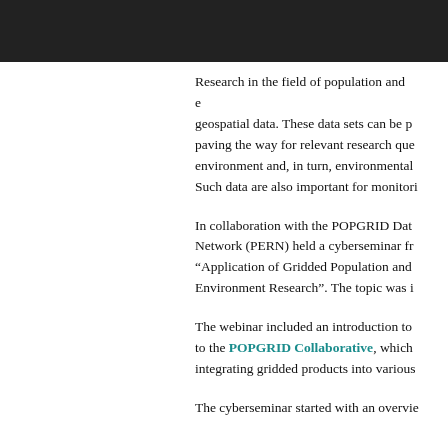Research in the field of population and e... geospatial data. These data sets can be pr... paving the way for relevant research ques... environment and, in turn, environmental... Such data are also important for monitori...
In collaboration with the POPGRID Data... Network (PERN) held a cyberseminar fr... "Application of Gridded Population and... Environment Research". The topic was i...
The webinar included an introduction to... to the POPGRID Collaborative, which... integrating gridded products into various...
The cyberseminar started with an overvie...